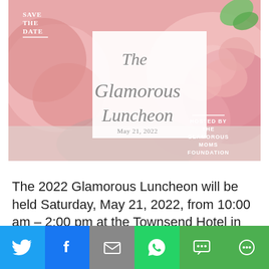[Figure (illustration): Save The Date event flyer for The Glamorous Luncheon, May 21, 2022. Background of pink roses with a white card overlay showing cursive text 'The Glamorous Luncheon May 21, 2022'. Upper left: 'SAVE THE DATE'. Lower right: 'HOSTED BY THE GLAMOROUS MOMS FOUNDATION'.]
The 2022 Glamorous Luncheon will be held Saturday, May 21, 2022, from 10:00 am – 2:00 pm at the Townsend Hotel in Birmingham, Michigan. This is an annual fundraising event to support the Glamorous
[Figure (infographic): Social sharing bar with icons: Twitter (blue), Facebook (blue), Email/envelope (grey), WhatsApp (green), SMS (green), More/share (green)]